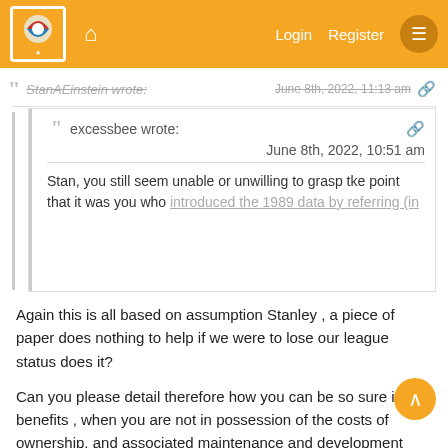StanAEinstein wrote: June 8th, 2022, 11:13 am
excessbee wrote: June 8th, 2022, 10:51 am
Stan, you still seem unable or unwilling to grasp tke point that it was you who introduced the 1989 data by referring (in...
Again this is all based on assumption Stanley , a piece of paper does nothing to help if we were to lose our league status does it?
Can you please detail therefore how you can be so sure it benefits , when you are not in possession of the costs of ownership, and associated maintenance and development costs, against the costs of rental, with no fixed expenditure risks?
Can you also detail why you are not happy with the clubs choices since 1989?